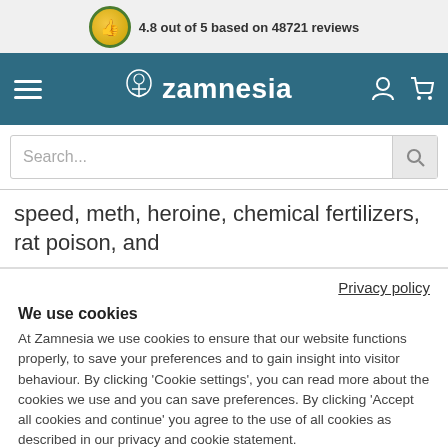4.8 out of 5 based on 48721 reviews
[Figure (logo): Zamnesia logo with navigation bar including hamburger menu, logo, user icon and cart icon]
Search...
speed, meth, heroine, chemical fertilizers, rat poison, and
Privacy policy
We use cookies
At Zamnesia we use cookies to ensure that our website functions properly, to save your preferences and to gain insight into visitor behaviour. By clicking ‘Cookie settings’, you can read more about the cookies we use and you can save preferences. By clicking ‘Accept all cookies and continue’ you agree to the use of all cookies as described in our privacy and cookie statement.
Accept all cookies and continue
Cookie settings